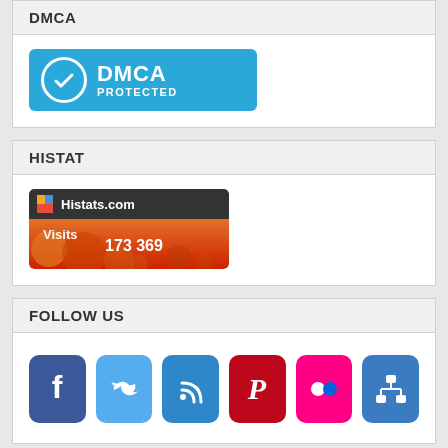DMCA
[Figure (logo): DMCA Protected badge — blue rounded rectangle with checkmark circle and text DMCA PROTECTED]
HISTAT
[Figure (infographic): Histats.com Visits counter badge showing 173 369 visits, orange/red background with bubble pattern]
FOLLOW US
[Figure (infographic): Row of 6 social media icons: Facebook, Twitter, RSS, Pinterest, Flickr, Sitemap]